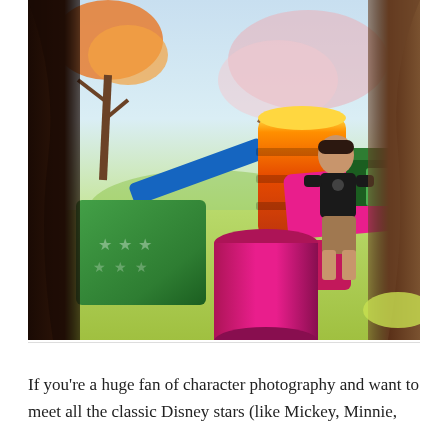[Figure (photo): A young child standing in a Disney-themed play area with colorful foam blocks, cylinders, and a painted mural depicting a nature scene with trees and grass. Soft play equipment includes green star-patterned blocks, pink and orange cylinders, and a pink foam wedge. The area is framed by decorative tree props on left and right sides. The child is wearing a dark Mickey Mouse shirt and light-colored pants.]
If you're a huge fan of character photography and want to meet all the classic Disney stars (like Mickey, Minnie,